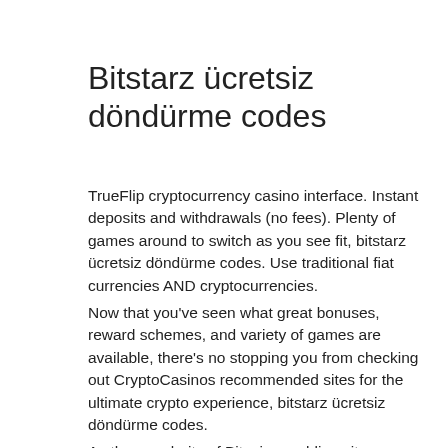Bitstarz ücretsiz döndürme codes
TrueFlip cryptocurrency casino interface. Instant deposits and withdrawals (no fees). Plenty of games around to switch as you see fit, bitstarz ücretsiz döndürme codes. Use traditional fiat currencies AND cryptocurrencies.
Now that you've seen what great bonuses, reward schemes, and variety of games are available, there's no stopping you from checking out CryptoCasinos recommended sites for the ultimate crypto experience, bitstarz ücretsiz döndürme codes.
As the popularity of Bitcoin gambling sites continues to grow, you'll find a greater variety of bitcoin games available to you. Crypto live dealer games. Live dealer games have been